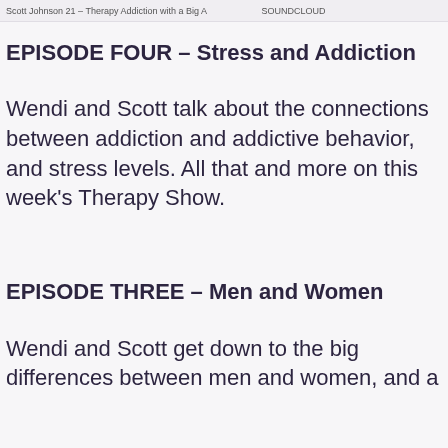Scott Johnson 21 – Therapy Addiction with a Big A   SOUNDCLOUD
EPISODE FOUR – Stress and Addiction
Wendi and Scott talk about the connections between addiction and addictive behavior, and stress levels. All that and more on this week's Therapy Show.
EPISODE THREE – Men and Women
Wendi and Scott get down to the big differences between men and women, and a